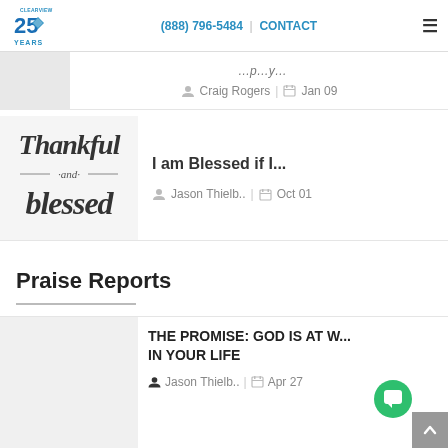(888) 796-5484 | CONTACT
Craig Rogers | Jan 09
[Figure (illustration): Thankful and Blessed decorative text art in dark script style]
I am Blessed if I...
Jason Thielb.. | Oct 01
Praise Reports
THE PROMISE: GOD IS AT W... IN YOUR LIFE
Jason Thielb.. | Apr 27